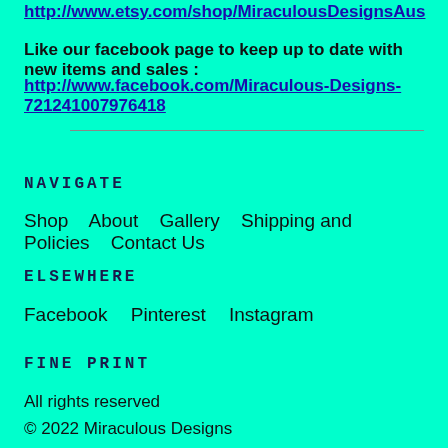http://www.etsy.com/shop/MiraculousDesignsAus
Like our facebook page to keep up to date with new items and sales :
http://www.facebook.com/Miraculous-Designs-721241007976418
NAVIGATE
Shop    About    Gallery    Shipping and Policies    Contact Us
ELSEWHERE
Facebook    Pinterest    Instagram
FINE PRINT
All rights reserved
© 2022 Miraculous Designs
Powered by Etsy